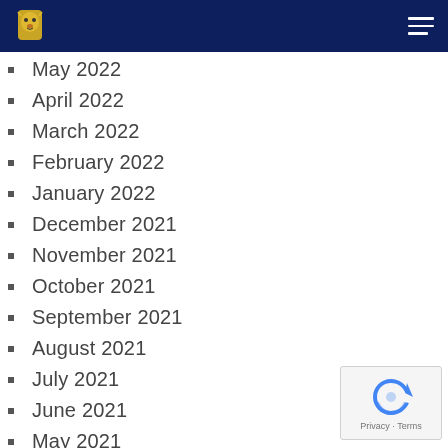School navigation bar with logo and hamburger menu
May 2022
April 2022
March 2022
February 2022
January 2022
December 2021
November 2021
October 2021
September 2021
August 2021
July 2021
June 2021
May 2021